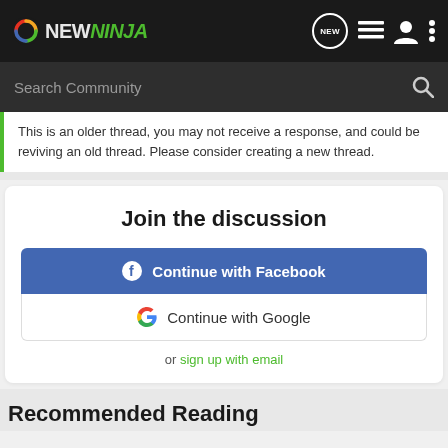[Figure (logo): NewNinja logo with navigation icons on dark bar]
Search Community
This is an older thread, you may not receive a response, and could be reviving an old thread. Please consider creating a new thread.
Join the discussion
Continue with Facebook
Continue with Google
or sign up with email
Recommended Reading